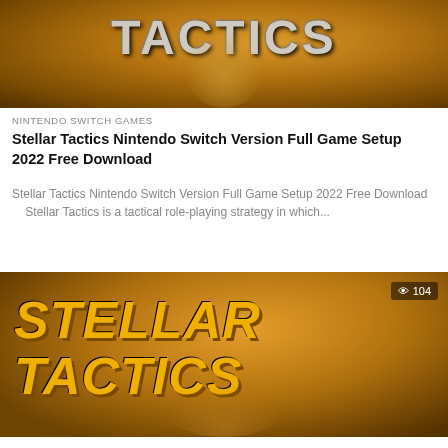[Figure (screenshot): Top cropped game banner for Stellar Tactics showing title text cut off at top, character holding weapon, golden/orange space background]
NINTENDO SWITCH GAMES
Stellar Tactics Nintendo Switch Version Full Game Setup 2022 Free Download
Stellar Tactics Nintendo Switch Version Full Game Setup 2022 Free Download     Stellar Tactics is a tactical role-playing strategy in which...
[Figure (screenshot): Stellar Tactics game banner showing STELLAR TACTICS title text in gold on orange/brown space background with character, view count 104 shown top right]
IOS GAMES
Stellar Tactics iPhone iOS Mobile MacOS Version Full Game Setup 2022 Free Download